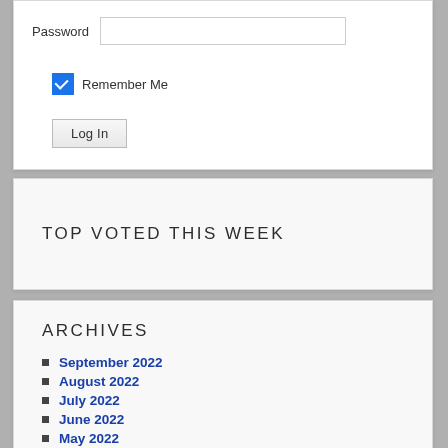Password
Remember Me
Log In
TOP VOTED THIS WEEK
ARCHIVES
September 2022
August 2022
July 2022
June 2022
May 2022